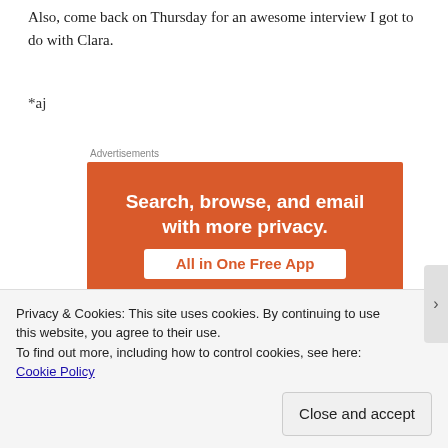Also, come back on Thursday for an awesome interview I got to do with Clara.
*aj
Advertisements
[Figure (illustration): DuckDuckGo advertisement banner with orange background. Headline: 'Search, browse, and email with more privacy.' Subheading pill: 'All in One Free App'. Shows top of a smartphone with the DuckDuckGo logo.]
Privacy & Cookies: This site uses cookies. By continuing to use this website, you agree to their use.
To find out more, including how to control cookies, see here: Cookie Policy
Close and accept